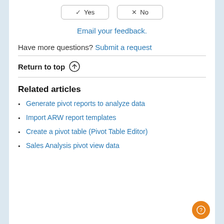✓ Yes   ✕ No (buttons)
Email your feedback.
Have more questions? Submit a request
Return to top ↑
Related articles
Generate pivot reports to analyze data
Import ARW report templates
Create a pivot table (Pivot Table Editor)
Sales Analysis pivot view data